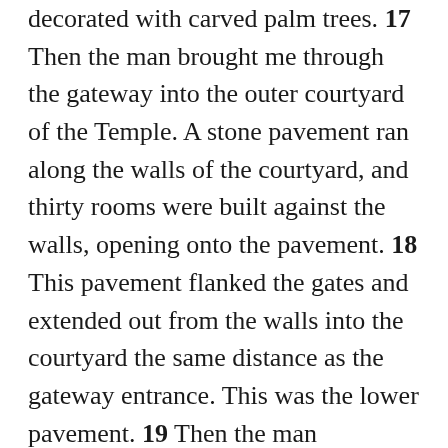decorated with carved palm trees. 17 Then the man brought me through the gateway into the outer courtyard of the Temple. A stone pavement ran along the walls of the courtyard, and thirty rooms were built against the walls, opening onto the pavement. 18 This pavement flanked the gates and extended out from the walls into the courtyard the same distance as the gateway entrance. This was the lower pavement. 19 Then the man measured across the Temple's outer courtyard between the outer and inner gateways; the distance was 175 feet. 20 The man measured the gateway on the north just like the one on the east. 21 Here, too, there were three guard alcoves on each side, with dividing walls and an entry room. All the measurements matched those of the east gateway. The gateway passage was 87 feet long and 43 feet wide between the back walls of facing guard